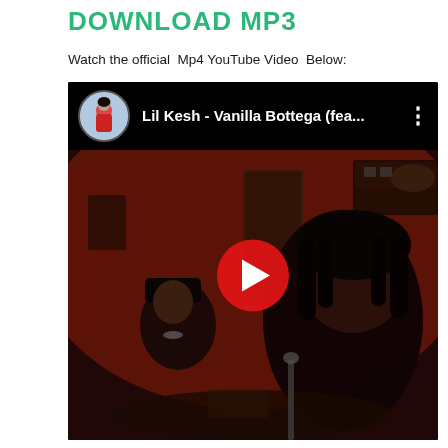DOWNLOAD MP3
Watch the official  Mp4 YouTube Video  Below:
[Figure (screenshot): YouTube video embed showing 'Lil Kesh - Vanilla Bottega (fea...' with a dark reddish video thumbnail featuring two people in a room, with a red YouTube play button in the center and the YouTube video header bar with channel avatar at the top.]